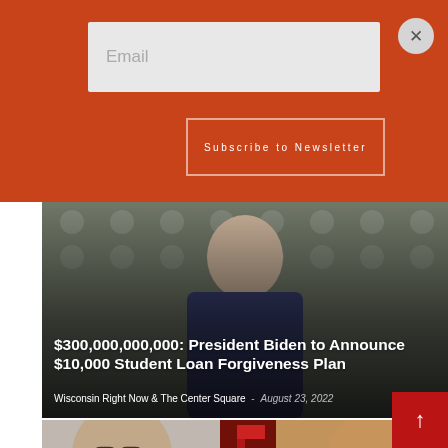[Figure (screenshot): Orange newsletter subscription banner with email input field and Subscribe to Newsletter button, with close (X) button in top right corner]
Email
Subscribe to Newsletter
[Figure (photo): Photo of President Biden with American flags in background, with article headline overlay]
$300,000,000,000: President Biden to Announce $10,000 Student Loan Forgiveness Plan
Wisconsin Right Now & The Center Square - August 23, 2022
[Figure (photo): Photo of two people (left: older man with glasses, right: younger man) with a dark red background in center]